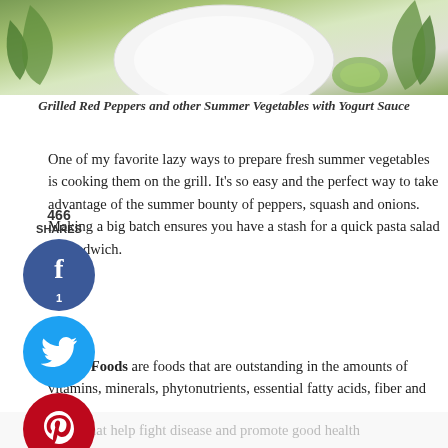[Figure (photo): Top portion of a food photograph showing grilled vegetables on a decorative plate with a light background and green leaf accents.]
Grilled Red Peppers and other Summer Vegetables with Yogurt Sauce
One of my favorite lazy ways to prepare fresh summer vegetables is cooking them on the grill. It's so easy and the perfect way to take advantage of the summer bounty of peppers, squash and onions. Making a big batch ensures you have a stash for a quick pasta salad or sandwich.
Recently, I joined a new weekly food blogging group that will feature a different Power Food each week based on the book Power Foods: 150 delicious recipes with 38 Healthiest Ingredients by the editors of Martha Stewart's Whole Living Magazine.
Power Foods are foods that are outstanding in the amounts of vitamins, minerals, phytonutrients, essential fatty acids, fiber and more, that help fight disease and promote good health